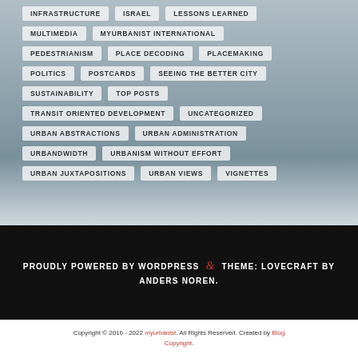[Figure (photo): Background cityscape/water photo with grey-blue tones, partially obscured by tag overlays]
INFRASTRUCTURE
ISRAEL
LESSONS LEARNED
MULTIMEDIA
MYURBANIST INTERNATIONAL
PEDESTRIANISM
PLACE DECODING
PLACEMAKING
POLITICS
POSTCARDS
SEEING THE BETTER CITY
SUSTAINABILITY
TOP POSTS
TRANSIT ORIENTED DEVELOPMENT
UNCATEGORIZED
URBAN ABSTRACTIONS
URBAN ADMINISTRATION
URBANDWIDTH
URBANISM WITHOUT EFFORT
URBAN JUXTAPOSITIONS
URBAN VIEWS
VIGNETTES
PROUDLY POWERED BY WORDPRESS & THEME: LOVECRAFT BY ANDERS NOREN.
Copyright © 2016 - 2022 myurbanist. All Rights Reserved. Created by Blog Copyright.